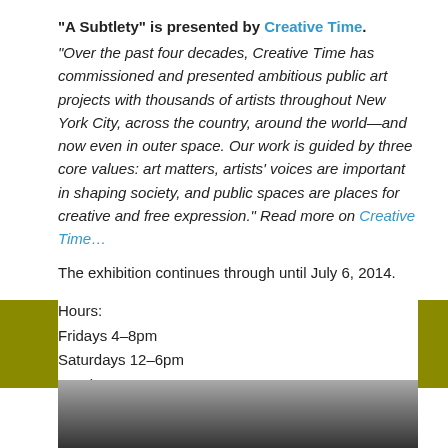“A Subtlety” is presented by Creative Time.
“Over the past four decades, Creative Time has commissioned and presented ambitious public art projects with thousands of artists throughout New York City, across the country, around the world—and now even in outer space. Our work is guided by three core values: art matters, artists’ voices are important in shaping society, and public spaces are places for creative and free expression.” Read more on Creative Time…
The exhibition continues through until July 6, 2014.
Hours:
Fridays 4–8pm
Saturdays 12–6pm
Sundays 12–6pm.
& FYI – be prepared for a long line up!
[Figure (photo): Black and white photograph, partially visible at the bottom of the page]